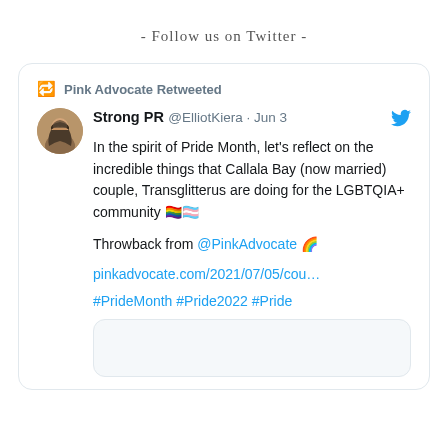- Follow us on Twitter -
Pink Advocate Retweeted
Strong PR @ElliotKiera · Jun 3
In the spirit of Pride Month, let's reflect on the incredible things that Callala Bay (now married) couple, Transglitterus are doing for the LGBTQIA+ community 🏳️‍🌈🏳️‍⚧️

Throwback from @PinkAdvocate 🌈

pinkadvocate.com/2021/07/05/cou…

#PrideMonth #Pride2022 #Pride